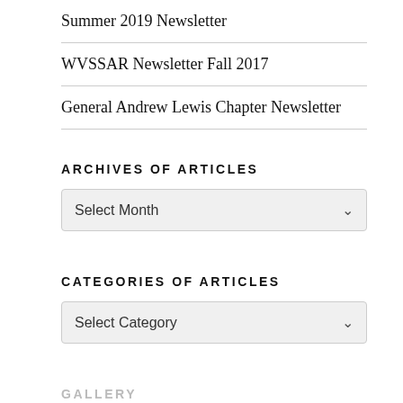Summer 2019 Newsletter
WVSSAR Newsletter Fall 2017
General Andrew Lewis Chapter Newsletter
ARCHIVES OF ARTICLES
[Figure (other): Select Month dropdown widget]
CATEGORIES OF ARTICLES
[Figure (other): Select Category dropdown widget]
GALLERY